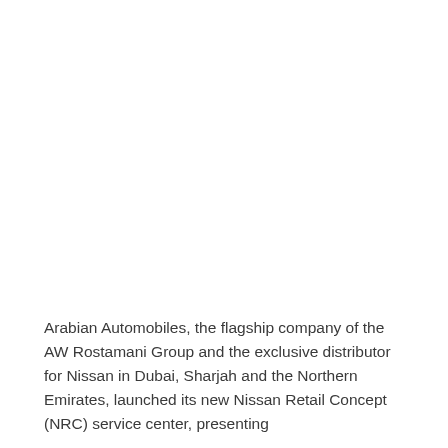Arabian Automobiles, the flagship company of the AW Rostamani Group and the exclusive distributor for Nissan in Dubai, Sharjah and the Northern Emirates, launched its new Nissan Retail Concept (NRC) service center, presenting